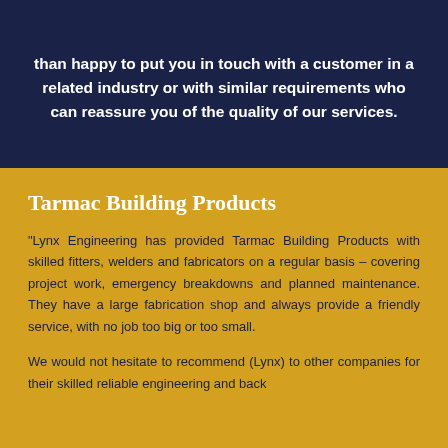than happy to put you in touch with a customer in a related industry or with similar requirements who can reassure you of the quality of our services.
Tarmac Building Products
"Lynx Engineering has provided Tarmac Building Products with skilled fitters, welders and fabricators on a regular basis – covering project work, emergency breakdowns and planned maintenance. They have a large fabrication shop and always provide a friendly service, with no job too big or too small.
We would not hesitate to recommend (Lynx) to other companies for their skilled reliable engineering and back